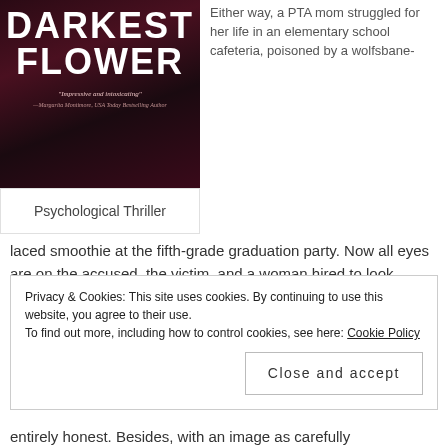[Figure (photo): Book cover of 'Darkest Flower' with dark maroon/purple background, bold white text reading DARKEST FLOWER, and an italic quote 'Impressive and intoxicating' attributed to Margarita Montimore, USA Today Bestselling Author]
Either way, a PTA mom struggled for her life in an elementary school cafeteria, poisoned by a wolfsbane-laced smoothie at the fifth-grade graduation party. Now all eyes are on the accused, the victim, and a woman hired to look deeper.
Psychological Thriller
Ambitious defense attorney and single mother Allison Barton is anxious to escape the shadow of the low-down
Privacy & Cookies: This site uses cookies. By continuing to use this website, you agree to their use.
To find out more, including how to control cookies, see here: Cookie Policy
Close and accept
entirely honest. Besides, with an image as carefully